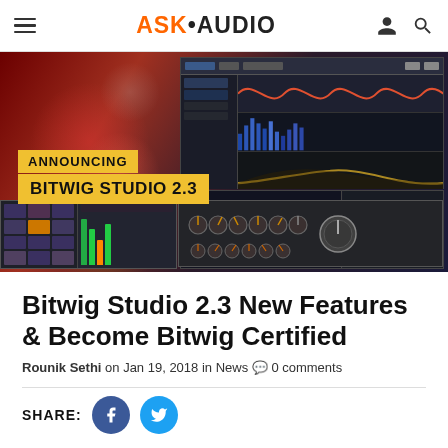ASK·AUDIO
[Figure (screenshot): Hero image for Bitwig Studio 2.3 article. Dark background with red bokeh circles on left, software screenshots of Bitwig Studio on right. Yellow banner overlay reads 'ANNOUNCING' and 'BITWIG STUDIO 2.3'.]
Bitwig Studio 2.3 New Features & Become Bitwig Certified
Rounik Sethi on Jan 19, 2018 in News 🗨 0 comments
SHARE: